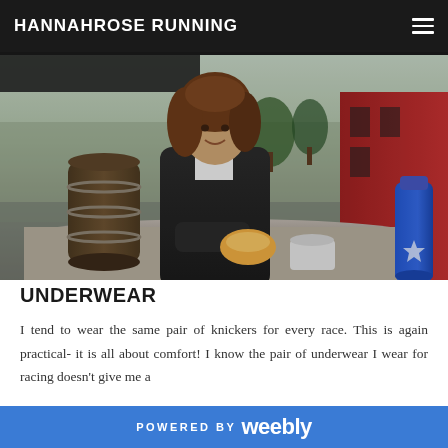HANNAHROSE RUNNING
[Figure (photo): A young woman with curly brown hair wearing a dark zip-up jacket sitting at an outdoor table, holding a bread roll. A wooden barrel is visible to the left, a blue water bottle to the right, and a red building in the background.]
UNDERWEAR
I tend to wear the same pair of knickers for every race. This is again practical- it is all about comfort! I know the pair of underwear I wear for racing doesn't give me a wedgee or cause any discomfort, so why worry about it. If
POWERED BY weebly